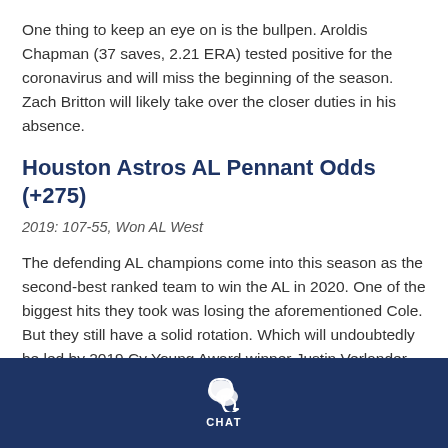One thing to keep an eye on is the bullpen. Aroldis Chapman (37 saves, 2.21 ERA) tested positive for the coronavirus and will miss the beginning of the season. Zach Britton will likely take over the closer duties in his absence.
Houston Astros AL Pennant Odds (+275)
2019: 107-55, Won AL West
The defending AL champions come into this season as the second-best ranked team to win the AL in 2020. One of the biggest hits they took was losing the aforementioned Cole. But they still have a solid rotation. Which will undoubtedly be led by 2019 Cy Young Award winner Justin Verlander (21-6, 2.58 ERA). Zack Greinke
CHAT